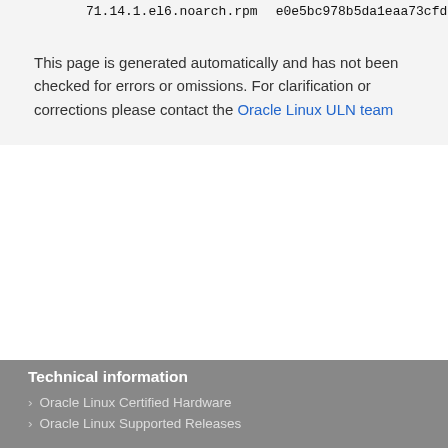71.14.1.el6.noarch.rpm   e0e5bc978b5da1eaa73cfd
This page is generated automatically and has not been checked for errors or omissions. For clarification or corrections please contact the Oracle Linux ULN team
Technical information
Oracle Linux Certified Hardware
Oracle Linux Supported Releases
Oracle Linux Support
Connect
Oracle Linux Support
Oracle Premier Support for Systems
Advanced Customer Services
Facebook
Twitter
LinkedIn
YouTube
Blog
Contact Us